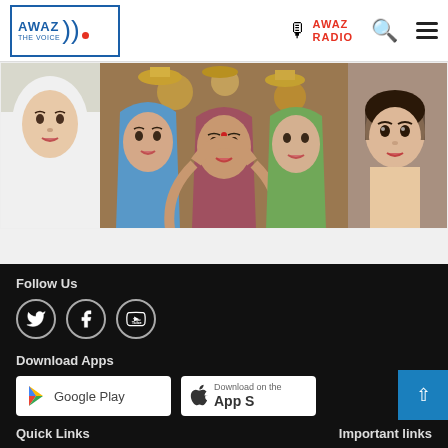[Figure (logo): AWAZ THE VOICE logo with blue border, microphone icon, and AWAZ RADIO text in red]
[Figure (photo): Collage of young women and girls in different traditional/cultural dress including hijab and Indian attire]
Follow Us
[Figure (infographic): Three social media icons in circular outlines: Twitter, Facebook, YouTube]
Download Apps
[Figure (screenshot): Google Play button]
[Figure (screenshot): Download on the App Store button (partially visible)]
Quick Links
Important links